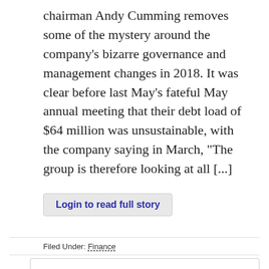chairman Andy Cumming removes some of the mystery around the company’s bizarre governance and management changes in 2018. It was clear before last May’s fateful May annual meeting that their debt load of $64 million was unsustainable, with the company saying in March, “The group is therefore looking at all [...]
Login to read full story
Filed Under: Finance
Login
User name: